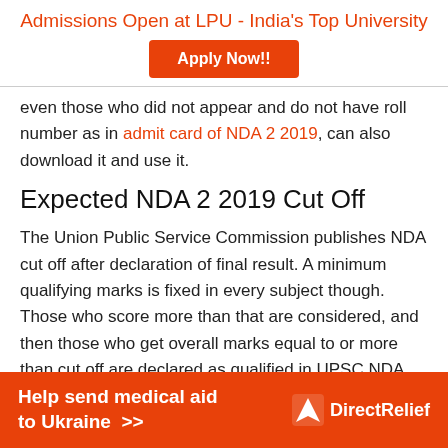Admissions Open at LPU - India's Top University
[Figure (other): Apply Now!! button - orange CTA button]
even those who did not appear and do not have roll number as in admit card of NDA 2 2019, can also download it and use it.
Expected NDA 2 2019 Cut Off
The Union Public Service Commission publishes NDA cut off after declaration of final result. A minimum qualifying marks is fixed in every subject though. Those who score more than that are considered, and then those who get overall marks equal to or more than cut off are declared as qualified in UPSC NDA Result of
[Figure (other): Help send medical aid to Ukraine >> DirectRelief advertisement banner]